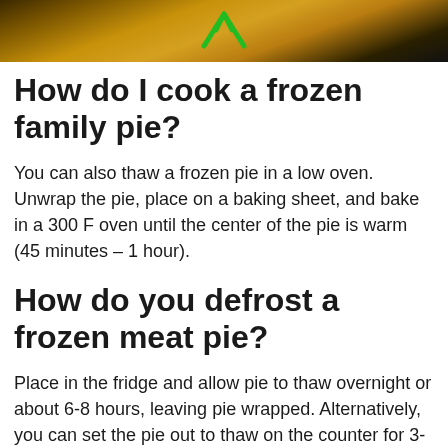[Figure (photo): Photo of a pie being held, with a green arrow overlay]
How do I cook a frozen family pie?
You can also thaw a frozen pie in a low oven. Unwrap the pie, place on a baking sheet, and bake in a 300 F oven until the center of the pie is warm (45 minutes – 1 hour).
How do you defrost a frozen meat pie?
Place in the fridge and allow pie to thaw overnight or about 6-8 hours, leaving pie wrapped. Alternatively, you can set the pie out to thaw on the counter for 3-5 hours. Be careful not to leave it overnight as you don't